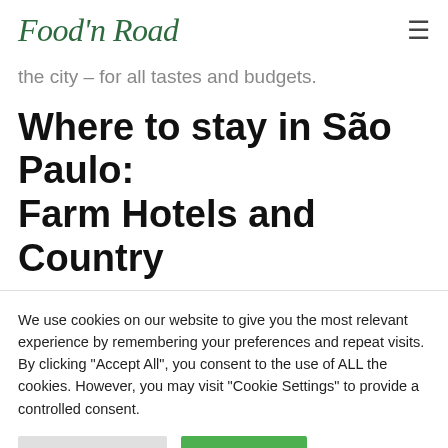Food'n Road
the city – for all tastes and budgets.
Where to stay in São Paulo: Farm Hotels and Country
We use cookies on our website to give you the most relevant experience by remembering your preferences and repeat visits. By clicking "Accept All", you consent to the use of ALL the cookies. However, you may visit "Cookie Settings" to provide a controlled consent.
Cookie Settings | Accept All